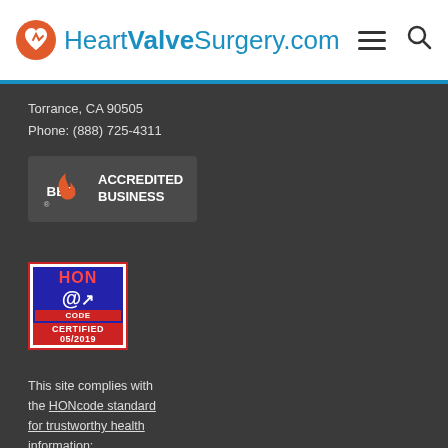HeartValveSurgery.com
Torrance, CA 90505
Phone: (888) 725-4311
[Figure (logo): BBB Accredited Business badge with flame logo]
[Figure (logo): HONcode Certified 05/2019 badge]
This site complies with the HONcode standard for trustworthy health information: verify here.
© 2022 HeartValve Surgery...  All Rights Reserved...